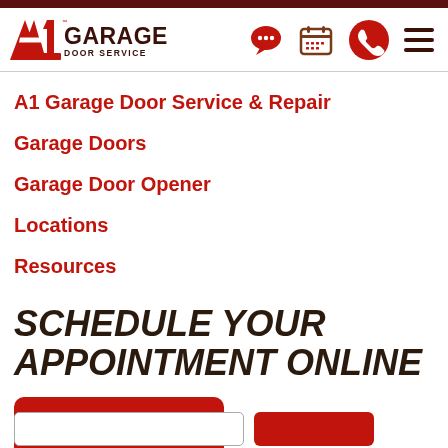[Figure (logo): A1 Garage Door Service logo with red A1 and dark brown text]
A1 Garage Door Service & Repair
Garage Doors
Garage Door Opener
Locations
Resources
SCHEDULE YOUR APPOINTMENT ONLINE
Book Here